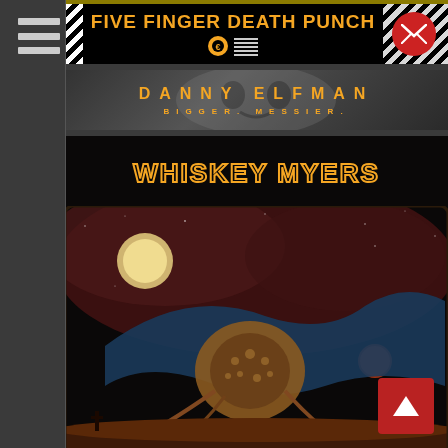[Figure (screenshot): Website listing page showing music artist banners. Left sidebar with hamburger menu icon. Top right has red circular mail icon. Bottom right has red back-to-top arrow button. Three artist banners visible: Five Finger Death Punch (black banner with orange text and diagonal stripe pattern), Danny Elfman 'Bigger. Messier.' (dark banner with orange text), and Whiskey Myers (dark banner with orange outlined text and psychedelic album art).]